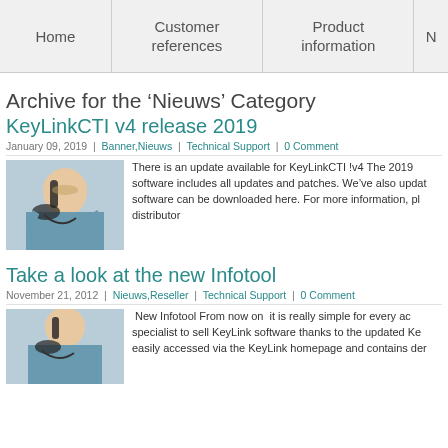Home | Customer references | Product information | N
Archive for the ‘Nieuws’ Category
KeyLinkCTI v4 release 2019
January 09, 2019 | Banner,Nieuws | Technical Support | 0 Comment
[Figure (photo): Woman smiling and talking on a phone headset]
There is an update available for KeyLinkCTI !v4 The 2019 software includes all updates and patches. We’ve also updated software can be downloaded here. For more information, pl distributor
Take a look at the new Infotool
November 21, 2012 | Nieuws,Reseller | Technical Support | 0 Comment
[Figure (photo): Woman smiling and talking on a phone, lower portion visible]
New Infotool From now on it is really simple for every ac specialist to sell KeyLink software thanks to the updated Ke easily accessed via the KeyLink homepage and contains der